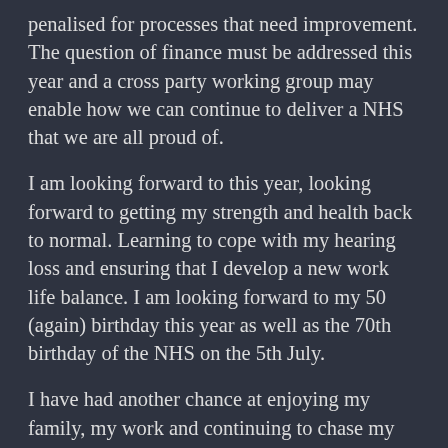penalised for processes that need improvement. The question of finance must be addressed this year and a cross party working group may enable how we can continue to deliver a NHS that we are all proud of.
I am looking forward to this year, looking forward to getting my strength and health back to normal. Learning to cope with my hearing loss and ensuring that I develop a new work life balance. I am looking forward to my 50 (again) birthday this year as well as the 70th birthday of the NHS on the 5th July.
I have had another chance at enjoying my family, my work and continuing to chase my dreams. Let's work together to give the NHS that chance.
#NHS70 #ThankUNHS